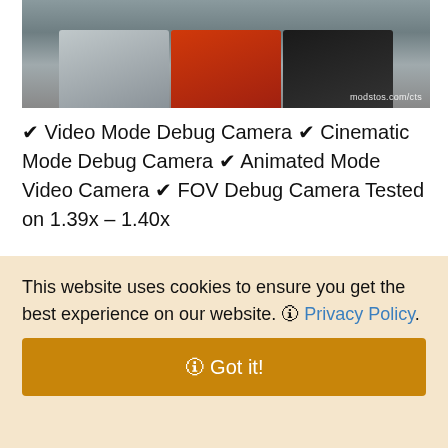[Figure (photo): Screenshot of semi-trucks parked in a lot from a video game (American Truck Simulator / CTS mod), with watermark 'modstos.com/cts']
✔ Video Mode Debug Camera ✔ Cinematic Mode Debug Camera ✔ Animated Mode Video Camera ✔ FOV Debug Camera Tested on 1.39x – 1.40x
⬇ DOWNLOAD ⬇
This website uses cookies to ensure you get the best experience on our website. 🛈 Privacy Policy.
🛈 Got it!